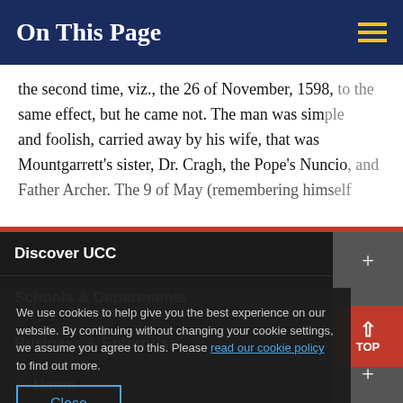On This Page
the second time, viz., the 26 of November, 1598, to the same effect, but he came not. The man was simple and foolish, carried away by his wife, that was Mountgarrett's sister, Dr. Cragh, the Pope's Nuncio, and Father Archer. The 9 of May (remembering himself
Discover UCC
Schools & Departments
Business & Enterprise
Alumni & Development
We use cookies to help give you the best experience on our website. By continuing without changing your cookie settings, we assume you agree to this. Please read our cookie policy to find out more.
Home